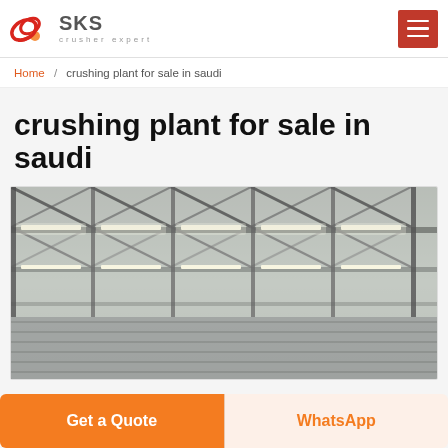SKS crusher expert
Home / crushing plant for sale in saudi
crushing plant for sale in saudi
[Figure (photo): Interior of an industrial steel-frame warehouse or factory building, showing metal roof trusses, fluorescent strip lighting, and corrugated metal cladding panels.]
Get a Quote | WhatsApp